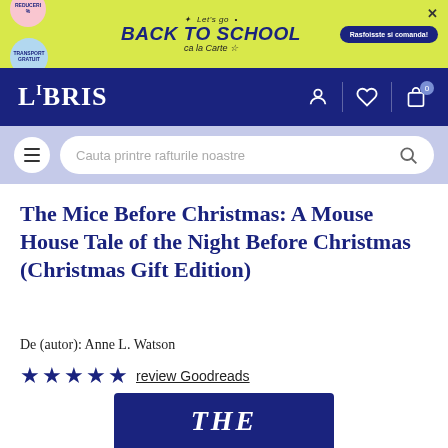[Figure (screenshot): Yellow promotional banner: Let's go BACK TO SCHOOL ca la Carte with decorative circles and a dark blue CTA button 'Rasfoisste si comanda!']
[Figure (logo): LIBRIS logo in white on dark navy navbar with user, heart, and cart icons]
[Figure (screenshot): Search bar area with hamburger menu button and search field 'Cauta printre rafturile noastre']
The Mice Before Christmas: A Mouse House Tale of the Night Before Christmas (Christmas Gift Edition)
De (autor): Anne L. Watson
★★★★★ review Goodreads
[Figure (photo): Partial view of book cover showing 'THE' text on a dark blue background with stars]